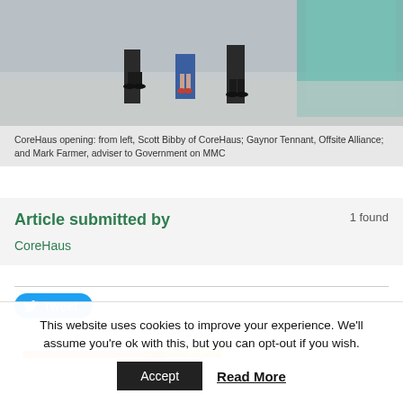[Figure (photo): Photo of people standing in an industrial/warehouse space, lower portions of bodies visible, concrete floor]
CoreHaus opening: from left, Scott Bibby of CoreHaus; Gaynor Tennant, Offsite Alliance; and Mark Farmer, adviser to Government on MMC
Article submitted by
1 found
CoreHaus
Tweet
This website uses cookies to improve your experience. We'll assume you're ok with this, but you can opt-out if you wish.
Accept
Read More